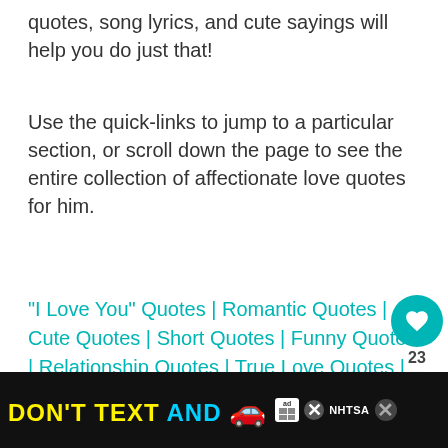quotes, song lyrics, and cute sayings will help you do just that!
Use the quick-links to jump to a particular section, or scroll down the page to see the entire collection of affectionate love quotes for him.
"I Love You" Quotes | Romantic Quotes | Cute Quotes | Short Quotes | Funny Quotes | Relationship Quotes | True Love Quotes | Long Distance Quotes
"I Love You" Quotes for Him
Sweet and affection-filled "I Love You" love quotes for him... boyfriend or
[Figure (other): Advertisement banner: DON'T TEXT AND [car emoji] with ad and NHTSA logos]
[Figure (other): Social share widget with heart button showing 23 saves and share button]
[Figure (other): What's Next widget: 100 Cute Boyfriend...]